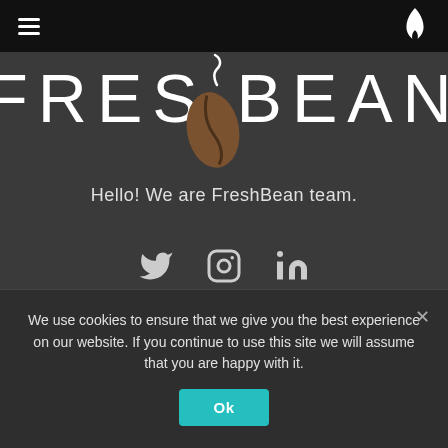FreshBean navigation bar with hamburger menu and flame logo
[Figure (logo): FreshBean logo: large stylized text FRESHBEAN with a coffee bean icon replacing the letter O, on dark background]
Hello! We are FreshBean team.
[Figure (illustration): Social media icons: Twitter bird, Instagram camera circle, LinkedIn 'in' text]
© 2022 FreshBean. All Rights Reserved.
We use cookies to ensure that we give you the best experience on our website. If you continue to use this site we will assume that you are happy with it.